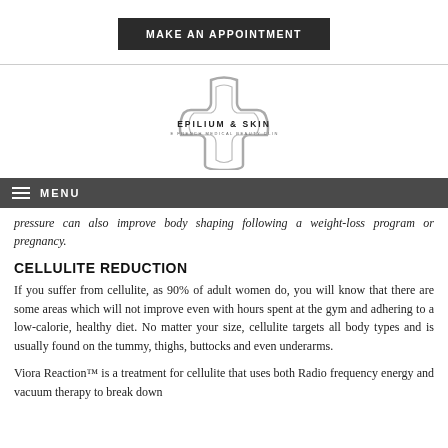[Figure (logo): Epilium & Skin – The French Medical Beauty Clinic logo with cross shape and text]
MAKE AN APPOINTMENT
pressure can also improve body shaping following a weight-loss program or pregnancy.
CELLULITE REDUCTION
If you suffer from cellulite, as 90% of adult women do, you will know that there are some areas which will not improve even with hours spent at the gym and adhering to a low-calorie, healthy diet. No matter your size, cellulite targets all body types and is usually found on the tummy, thighs, buttocks and even underarms.
Viora Reaction™ is a treatment for cellulite that uses both Radio frequency energy and vacuum therapy to break down